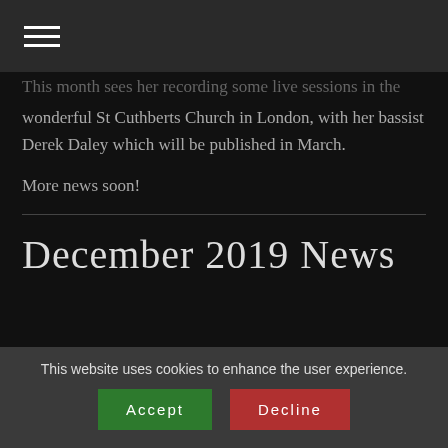☰ (hamburger menu icon)
This month sees her recording some live sessions in the wonderful St Cuthberts Church in London, with her bassist Derek Daley which will be published in March.
More news soon!
December 2019 News
This website uses cookies to enhance the user experience.